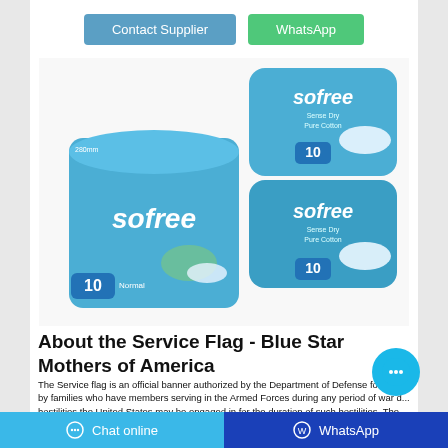Contact Supplier | WhatsApp
[Figure (photo): Product photo showing Sofree branded sanitary pad packages in blue packaging. Left: a square box with '10 Normal' label. Right: two stacked flat packages labeled 'sofree Sense Dry Pure Cotton 10'.]
About the Service Flag - Blue Star Mothers of America
The Service flag is an official banner authorized by the Department of Defense for di... by families who have members serving in the Armed Forces during any period of war d... hostilities the United States may be engaged in for the duration of such hostilities. The Service flag, also called the Blue Star Flag, was designed and patented by WWI ...
Chat online | WhatsApp